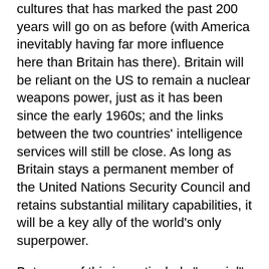cultures that has marked the past 200 years will go on as before (with America inevitably having far more influence here than Britain has there). Britain will be reliant on the US to remain a nuclear weapons power, just as it has been since the early 1960s; and the links between the two countries' intelligence services will still be close. As long as Britain stays a permanent member of the United Nations Security Council and retains substantial military capabilities, it will be a key ally of the world's only superpower.
But none of this is particularly "special". The fact is that, with the end of the cold war, Britain's role as America's favoured partner in western Europe no longer makes much sense to US policy-makers. During the cold war, the French were too independent for Washington's liking and the Germans too prone to neutralism. Britain, by contrast, under both Tory and Labour governments, could be relied upon to back the US on every key policy decision. When the Americans said "Jump!", we jumped, in other words, and in return felt mightily pleased to be patted on the head.
Today, however, the value of such unquestioning loyalty is much reduced — and with Tory Britain a bit player in the